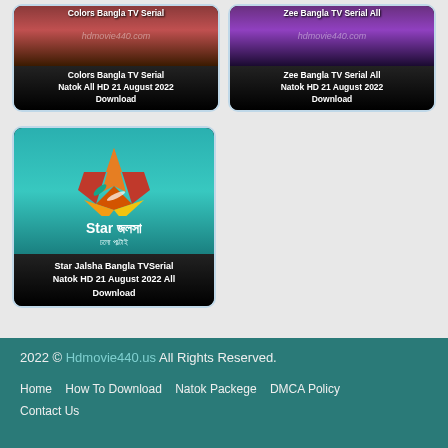[Figure (screenshot): Colors Bangla TV Serial Natok All HD 21 August 2022 Download card thumbnail]
Colors Bangla TV Serial Natok All HD 21 August 2022 Download
[Figure (screenshot): Zee Bangla TV Serial All Natok HD 21 August 2022 Download card thumbnail]
Zee Bangla TV Serial All Natok HD 21 August 2022 Download
[Figure (logo): Star Jalsha logo on teal background with star graphic and Bengali text চলো পাল্টাই]
Star Jalsha Bangla TVSerial Natok HD 21 August 2022 All Download
2022 © Hdmovie440.us All Rights Reserved.
Home  How To Download  Natok Packege  DMCA Policy  Contact Us